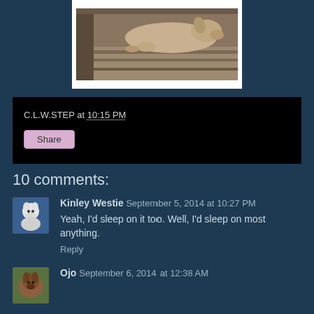[Figure (photo): A dog lying on a couch or bed covered with a blanket, photographed from the side. The image is displayed in a white frame on a dark blue background.]
C.L.W.STEP at 10:15 PM
Share
10 comments:
[Figure (photo): Small avatar thumbnail of a white dog (Westie) in a blue background.]
Kinley Westie  September 5, 2014 at 10:27 PM
Yeah, I'd sleep on it too. Well, I'd sleep on most anything.
Reply
[Figure (photo): Small avatar thumbnail of Ojo, a dog.]
Ojo  September 6, 2014 at 12:38 AM